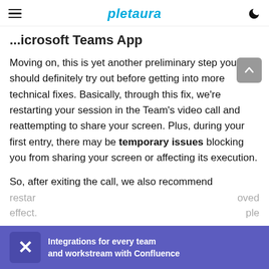pletaura
Microsoft Teams App
Moving on, this is yet another preliminary step you should definitely try out before getting into more technical fixes. Basically, through this fix, we're restarting your session in the Team's video call and reattempting to share your screen. Plus, during your first entry, there may be temporary issues blocking you from sharing your screen or affecting its execution.
So, after exiting the call, we also recommend restarting… …oved effect. …ple
[Figure (infographic): Confluence ad banner: Integrations for every team and workstream with Confluence, purple background with Confluence X logo]